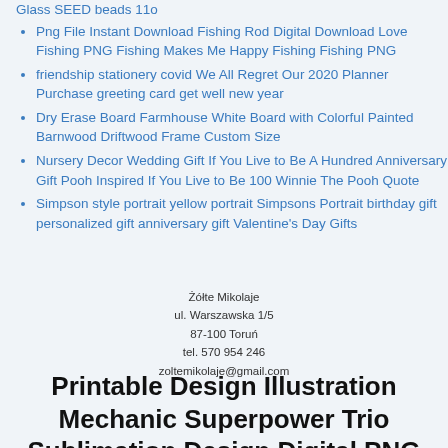Glass SEED beads 11o
Png File Instant Download Fishing Rod Digital Download Love Fishing PNG Fishing Makes Me Happy Fishing Fishing PNG
friendship stationery covid We All Regret Our 2020 Planner Purchase greeting card get well new year
Dry Erase Board Farmhouse White Board with Colorful Painted Barnwood Driftwood Frame Custom Size
Nursery Decor Wedding Gift If You Live to Be A Hundred Anniversary Gift Pooh Inspired If You Live to Be 100 Winnie The Pooh Quote
Simpson style portrait yellow portrait Simpsons Portrait birthday gift personalized gift anniversary gift Valentine's Day Gifts
Żółte Mikolaje
ul. Warszawska 1/5
87-100 Toruń
tel. 570 954 246
zoltemikolaje@gmail.com
Printable Design Illustration Mechanic Superpower Trio Sublimation Design Digital PNG